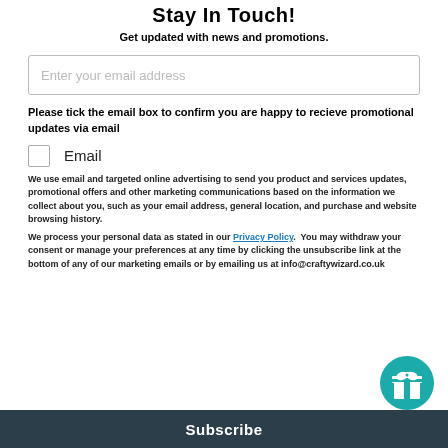Stay In Touch!
Get updated with news and promotions.
Enter your email address
Please tick the email box to confirm you are happy to recieve promotional updates via email
Email
We use email and targeted online advertising to send you product and services updates, promotional offers and other marketing communications based on the information we collect about you, such as your email address, general location, and purchase and website browsing history.
We process your personal data as stated in our Privacy Policy.  You may withdraw your consent or manage your preferences at any time by clicking the unsubscribe link at the bottom of any of our marketing emails or by emailing us at info@craftywizard.co.uk
Subscribe